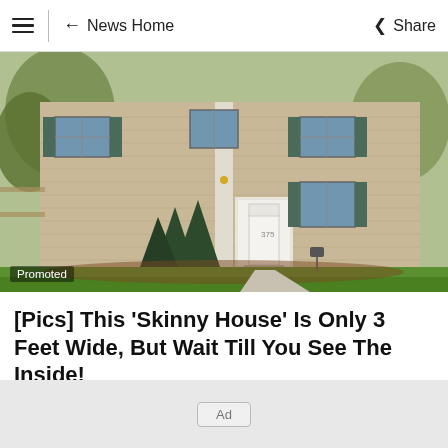News Home | Share
[Figure (photo): Exterior photo of a two-story colonial-style house with beige horizontal siding, dark green shutters, white front door with steps, flanked by evergreen shrubs and a green lawn. A 'Promoted' label is overlaid in the bottom-left corner.]
[Pics] This 'Skinny House' Is Only 3 Feet Wide, But Wait Till You See The Inside!
BuzzFond
Ad